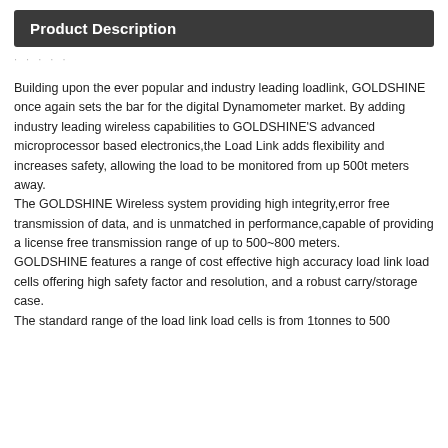Product Description
Building upon the ever popular and industry leading loadlink, GOLDSHINE once again sets the bar for the digital Dynamometer market. By adding industry leading wireless capabilities to GOLDSHINE'S advanced microprocessor based electronics,the Load Link adds flexibility and increases safety, allowing the load to be monitored from up 500t meters away.
The GOLDSHINE Wireless system providing high integrity,error free transmission of data, and is unmatched in performance,capable of providing a license free transmission range of up to 500~800 meters.
GOLDSHINE features a range of cost effective high accuracy load link load cells offering high safety factor and resolution, and a robust carry/storage case.
The standard range of the load link load cells is from 1tonnes to 500